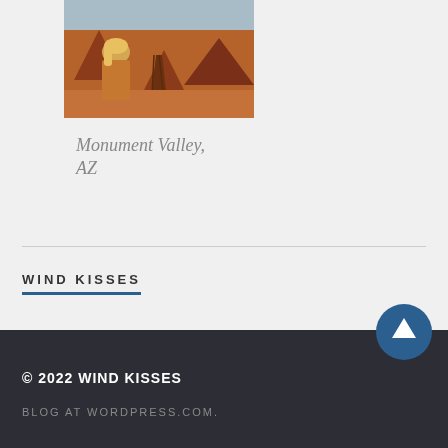[Figure (photo): A person with blonde hair looking out at Monument Valley desert landscape with red rock formations and a road/railway track stretching into the distance]
Monument Valley, AZ
WIND KISSES
© 2022 WIND KISSES BLOG AT WORDPRESS.COM.